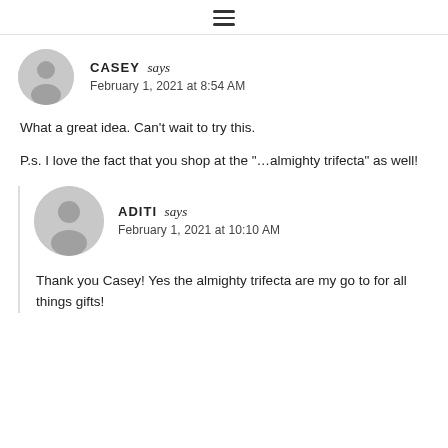≡ (navigation menu icon)
CASEY says
February 1, 2021 at 8:54 AM
What a great idea. Can't wait to try this.
P.s. I love the fact that you shop at the "…almighty trifecta" as well!
ADITI says
February 1, 2021 at 10:10 AM
Thank you Casey! Yes the almighty trifecta are my go to for all things gifts!